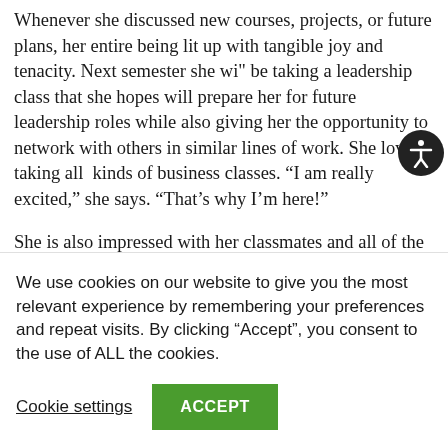Whenever she discussed new courses, projects, or future plans, her entire being lit up with tangible joy and tenacity. Next semester she wi" be taking a leadership class that she hopes will prepare her for future leadership roles while also giving her the opportunity to network with others in similar lines of work. She loves taking all kinds of business classes. “I am really excited,” she says. “That’s why I’m here!”

She is also impressed with her classmates and all of the “amazing people I’m studying with, people
We use cookies on our website to give you the most relevant experience by remembering your preferences and repeat visits. By clicking “Accept”, you consent to the use of ALL the cookies.
Cookie settings
ACCEPT